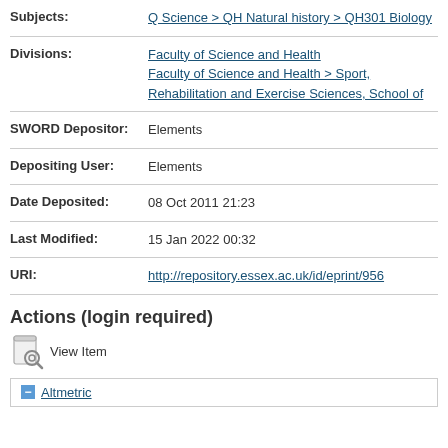| Subjects: | Q Science > QH Natural history > QH301 Biology |
| Divisions: | Faculty of Science and Health
Faculty of Science and Health > Sport, Rehabilitation and Exercise Sciences, School of |
| SWORD Depositor: | Elements |
| Depositing User: | Elements |
| Date Deposited: | 08 Oct 2011 21:23 |
| Last Modified: | 15 Jan 2022 00:32 |
| URI: | http://repository.essex.ac.uk/id/eprint/956 |
Actions (login required)
View Item
Altmetric